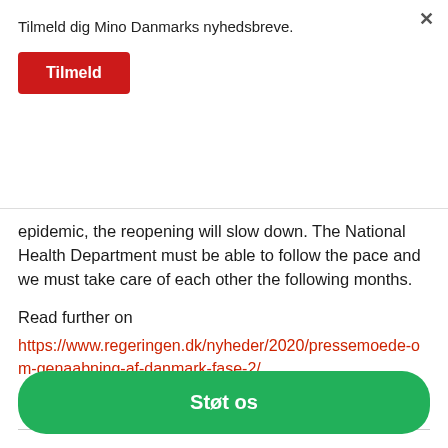Tilmeld dig Mino Danmarks nyhedsbreve.
Tilmeld
epidemic, the reopening will slow down. The National Health Department must be able to follow the pace and we must take care of each other the following months.
Read further on
https://www.regeringen.dk/nyheder/2020/pressemoede-om-genaabning-af-danmark-fase-2/
Støt Mino Danmarks arbejde.
Støt os